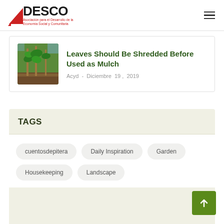DESCO Asociación para el Desarrollo de la Economía Social y Comunitaria
[Figure (photo): Young green plants / seedlings in a garden with wooden stakes]
Leaves Should Be Shredded Before Used as Mulch
Acyd - Diciembre 19, 2019
TAGS
cuentosdepitera
Daily Inspiration
Garden
Housekeeping
Landscape